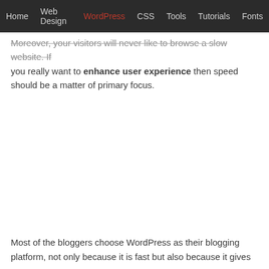Home  Web Design  WordPress  CSS  Tools  Tutorials  Fonts
Moreover, your visitors will never like to browse a slow website. If you really want to enhance user experience then speed should be a matter of primary focus.
Most of the bloggers choose WordPress as their blogging platform, not only because it is fast but also because it gives you